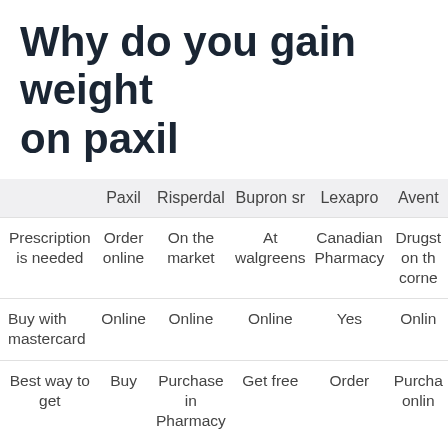Why do you gain weight on paxil
|  | Paxil | Risperdal | Bupron sr | Lexapro | Avent... |
| --- | --- | --- | --- | --- | --- |
| Prescription is needed | Order online | On the market | At walgreens | Canadian Pharmacy | Drugst on th corne |
| Buy with mastercard | Online | Online | Online | Yes | Onlin |
| Best way to get | Buy | Purchase in Pharmacy | Get free | Order | Purcha onlin |